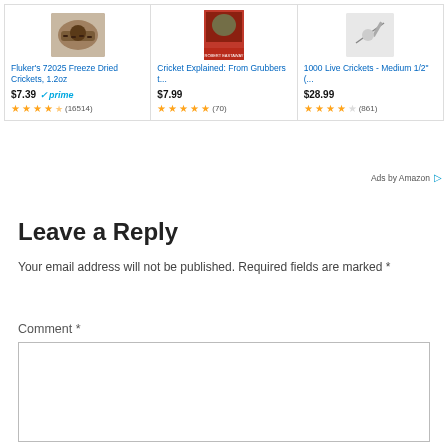[Figure (screenshot): Amazon ads row with three product cards: Fluker's 72025 Freeze Dried Crickets 1.2oz ($7.39, prime, 4.5 stars, 16514 reviews), Cricket Explained: From Grubbers t... ($7.99, 5 stars, 70 reviews), 1000 Live Crickets - Medium 1/2" (... ($28.99, 3.5 stars, 861 reviews)]
Leave a Reply
Your email address will not be published. Required fields are marked *
Comment *